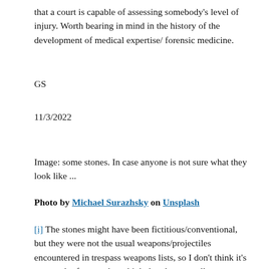that a court is capable of assessing somebody's level of injury. Worth bearing in mind in the history of the development of medical expertise/ forensic medicine.
GS
11/3/2022
Image: some stones. In case anyone is not sure what they look like ...
Photo by Michael Surazhsky on Unsplash
[i] The stones might have been fictitious/conventional, but they were not the usual weapons/projectiles encountered in trespass weapons lists, so I don't think it's too much of a stretch to think that they actually meant that stones were